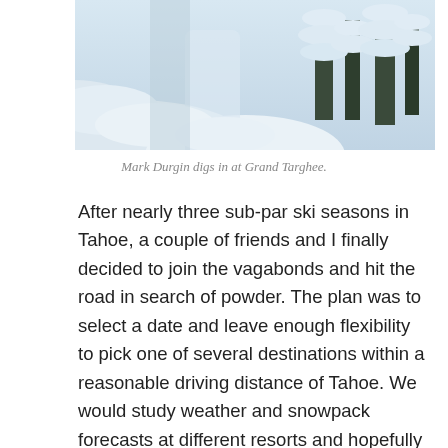[Figure (photo): Snow-covered trees and deep powder snow at Grand Targhee ski resort, showing heavily laden branches and a snow channel or path cut through the trees.]
Mark Durgin digs in at Grand Targhee.
After nearly three sub-par ski seasons in Tahoe, a couple of friends and I finally decided to join the vagabonds and hit the road in search of powder. The plan was to select a date and leave enough flexibility to pick one of several destinations within a reasonable driving distance of Tahoe. We would study weather and snowpack forecasts at different resorts and hopefully zero in on the one with the best possible conditions at the time. We also wanted to choose a less popular destination which would offer more quality skiing with less competition for fresh tracks. We finally decided on Grand Targhee. Located on the western slope of the Teton Range in Wyoming, Grand Targhee had a reputation for good terrain, lots of snow and few skiers.